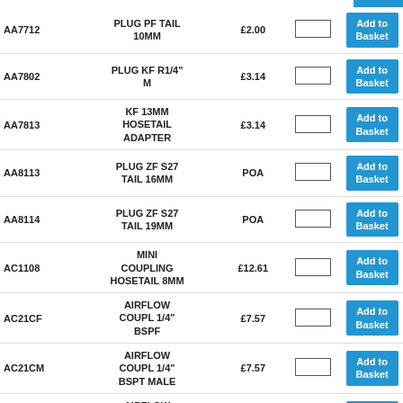| Code | Description | Price | Qty | Action |
| --- | --- | --- | --- | --- |
| AA7712 | PLUG PF TAIL 10MM | £2.00 |  | Add to Basket |
| AA7802 | PLUG KF R1/4" M | £3.14 |  | Add to Basket |
| AA7813 | KF 13MM HOSETAIL ADAPTER | £3.14 |  | Add to Basket |
| AA8113 | PLUG ZF S27 TAIL 16MM | POA |  | Add to Basket |
| AA8114 | PLUG ZF S27 TAIL 19MM | POA |  | Add to Basket |
| AC1108 | MINI COUPLING HOSETAIL 8MM | £12.61 |  | Add to Basket |
| AC21CF | AIRFLOW COUPL 1/4" BSPF | £7.57 |  | Add to Basket |
| AC21CM | AIRFLOW COUPL 1/4" BSPT MALE | £7.57 |  | Add to Basket |
| AC21EF | AIRFLOW COUPL 3/8" BSPF | £9.00 |  | Add to Basket |
| AC21... | AIRFLOW ... |  |  | Add to Basket |